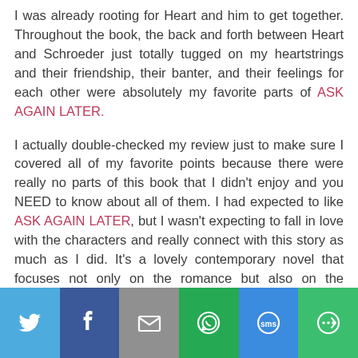I was already rooting for Heart and him to get together. Throughout the book, the back and forth between Heart and Schroeder just totally tugged on my heartstrings and their friendship, their banter, and their feelings for each other were absolutely my favorite parts of ASK AGAIN LATER.
I actually double-checked my review just to make sure I covered all of my favorite points because there were really no parts of this book that I didn't enjoy and you NEED to know about all of them. I had expected to like ASK AGAIN LATER, but I wasn't expecting to fall in love with the characters and really connect with this story as much as I did. It's a lovely contemporary novel that focuses not only on the romance but also on the friendships, compassion for others, and not letting the negative get you down. I really hope others love this book as much as I did!!
[Figure (infographic): Social sharing bar with six buttons: Twitter (light blue), Facebook (dark blue), Email (gray), WhatsApp (green), SMS (blue), and More (green)]